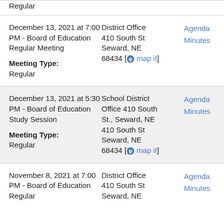Regular
December 13, 2021 at 7:00 PM - Board of Education Regular Meeting
Meeting Type:
Regular
District Office 410 South St Seward, NE 68434 [map it]
Agenda
Minutes
December 13, 2021 at 5:30 PM - Board of Education Study Session
Meeting Type:
Regular
School District Office 410 South St., Seward, NE 410 South St Seward, NE 68434 [map it]
Agenda
Minutes
November 8, 2021 at 7:00 PM - Board of Education Regular
District Office 410 South St Seward, NE
Agenda
Minutes